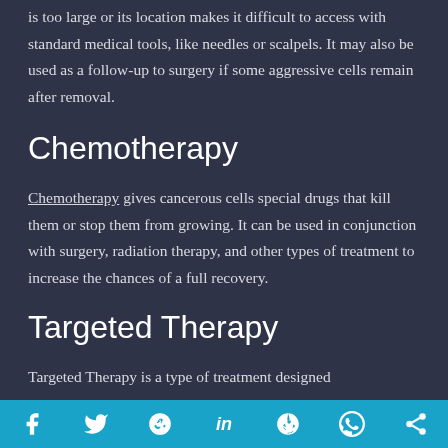is too large or its location makes it difficult to access with standard medical tools, like needles or scalpels. It may also be used as a follow-up to surgery if some aggressive cells remain after removal.
Chemotherapy
Chemotherapy gives cancerous cells special drugs that kill them or stop them from growing. It can be used in conjunction with surgery, radiation therapy, and other types of treatment to increase the chances of a full recovery.
Targeted Therapy
Targeted Therapy is a type of treatment designed
f  Twitter  Reddit  in  Pinterest  WhatsApp  Share